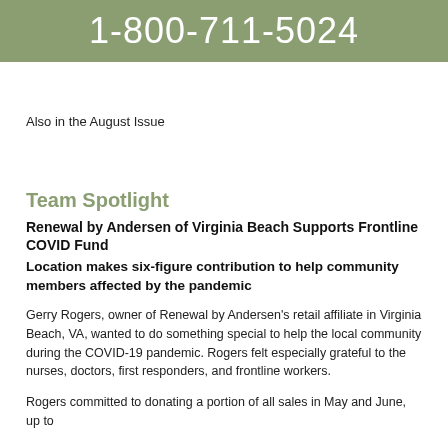1-800-711-5024
Also in the August Issue
Team Spotlight
Renewal by Andersen of Virginia Beach Supports Frontline COVID Fund
Location makes six-figure contribution to help community members affected by the pandemic
Gerry Rogers, owner of Renewal by Andersen's retail affiliate in Virginia Beach, VA, wanted to do something special to help the local community during the COVID-19 pandemic. Rogers felt especially grateful to the nurses, doctors, first responders, and frontline workers.
Rogers committed to donating a portion of all sales in May and June, up to